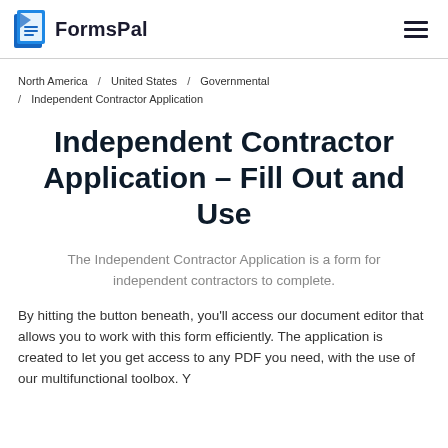FormsPal
North America / United States / Governmental / Independent Contractor Application
Independent Contractor Application – Fill Out and Use
The Independent Contractor Application is a form for independent contractors to complete.
By hitting the button beneath, you'll access our document editor that allows you to work with this form efficiently. The application is created to let you get access to any PDF you need, with the use of our multifunctional toolbox. Y...